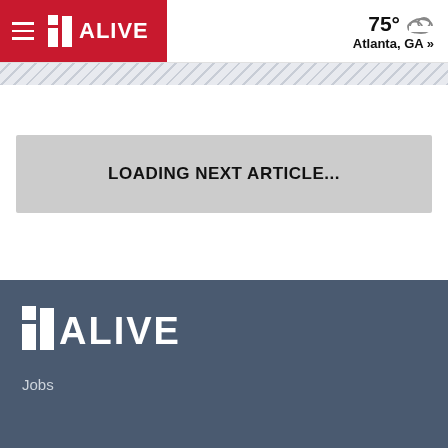11 ALIVE — 75° Atlanta, GA »
[Figure (other): Diagonal stripe decorative band below header]
LOADING NEXT ARTICLE...
[Figure (logo): 11 ALIVE logo in footer — white on dark slate blue background]
Jobs